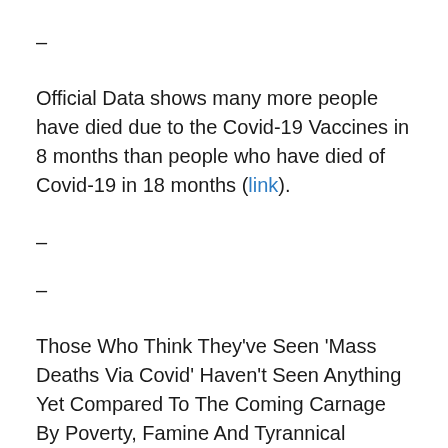–
Official Data shows many more people have died due to the Covid-19 Vaccines in 8 months than people who have died of Covid-19 in 18 months (link).
–
–
Those Who Think They've Seen 'Mass Deaths Via Covid' Haven't Seen Anything Yet Compared To The Coming Carnage By Poverty, Famine And Tyrannical Democide If Americans 'Surrender' (link).
–
–